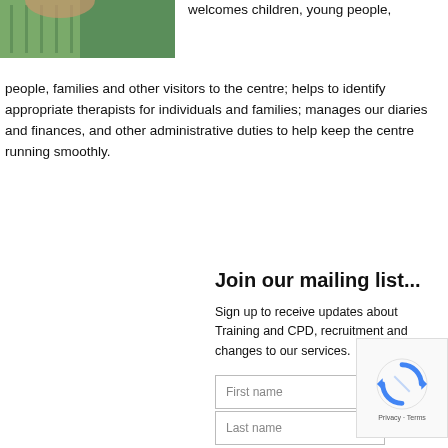[Figure (photo): Partial photo of a person, cropped at top of page, showing green/teal patterned clothing]
welcomes children, young people, families and other visitors to the centre; helps to identify appropriate therapists for individuals and families; manages our diaries and finances, and other administrative duties to help keep the centre running smoothly.
Join our mailing list...
Sign up to receive updates about Training and CPD, recruitment and changes to our services.
[Figure (other): reCAPTCHA widget with rotating arrows logo and Privacy - Terms text]
First name
Last name